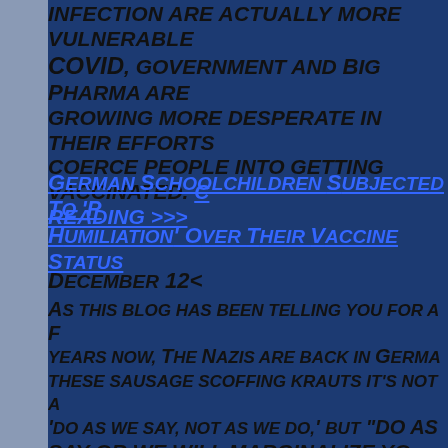infection are actually more vulnerable to COVID, government and Big Pharma are growing more desperate in their efforts to coerce people into getting vaccinated. Continue reading >>>
German Schoolchildren Subjected To 'Public Humiliation' Over Their Vaccine Status
December 12<
As this blog has been telling you for a few years now, The Nazis are back in Germany. For these sausage scoffing krauts it's not a case of 'do as we say, not as we do,' but "DO AS WE SAY OR WE WILL MARGINALIZE YOU AND FINE YOU INO POVERTY. Only a matter of time until the National Socialist coal...